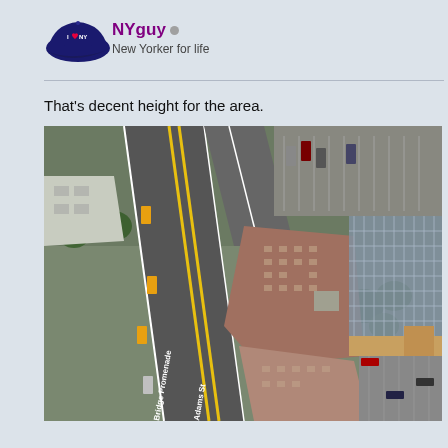[Figure (illustration): I Love NY baseball cap avatar image - dark navy blue cap with I heart NY logo]
NYguy
New Yorker for life
That's decent height for the area.
[Figure (photo): Aerial satellite view of an urban area showing multi-lane highway/expressway running diagonally, large brick buildings, parking lots, and trees. Street labels include 'Bridge Promenade' and 'Adams St'.]